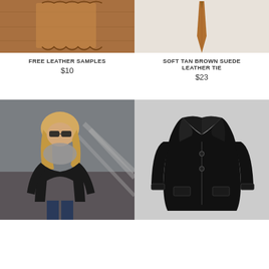[Figure (photo): Close-up photo of brown leather samples with scalloped/zigzag edge texture]
FREE LEATHER SAMPLES
$10
[Figure (photo): Soft tan brown suede leather tie on white/light background]
SOFT TAN BROWN SUEDE LEATHER TIE
$23
[Figure (photo): Woman wearing black leather jacket with grey scarf and sunglasses, walking on stairs]
[Figure (photo): Black leather blazer/jacket on white/grey background]